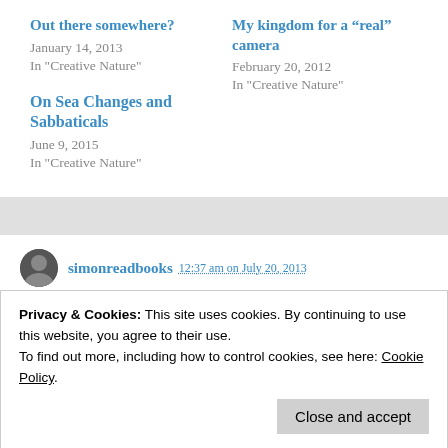Out there somewhere?
January 14, 2013
In "Creative Nature"
My kingdom for a “real” camera
February 20, 2012
In "Creative Nature"
On Sea Changes and Sabbaticals
June 9, 2015
In "Creative Nature"
simonreadbooks 12:37 am on July 20, 2013
Privacy & Cookies: This site uses cookies. By continuing to use this website, you agree to their use.
To find out more, including how to control cookies, see here: Cookie Policy
Close and accept
sheer delight of it!